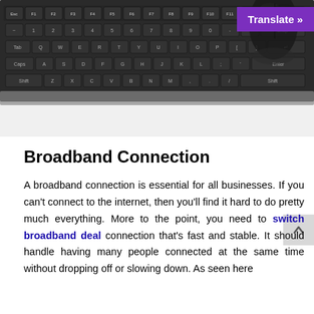[Figure (photo): Close-up photograph of a black computer keyboard with a black mouse visible in the upper right corner, on a white/light background. The keyboard has standard QWERTY layout with dark keys.]
Translate »
Broadband Connection
A broadband connection is essential for all businesses. If you can't connect to the internet, then you'll find it hard to do pretty much everything. More to the point, you need to switch broadband deal connection that's fast and stable. It should handle having many people connected at the same time without dropping off or slowing down. As seen here